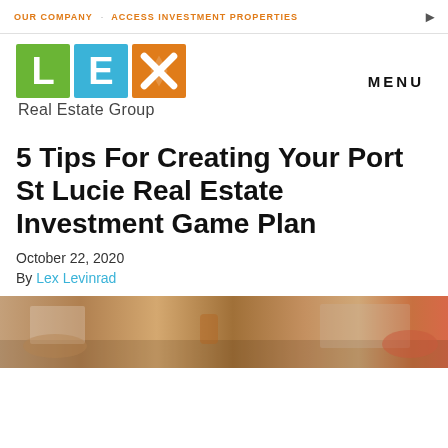OUR COMPANY   ACCESS INVESTMENT PROPERTIES
[Figure (logo): LEX Real Estate Group logo with three colored squares: green L, blue E, orange X, and text 'Real Estate Group' below]
5 Tips For Creating Your Port St Lucie Real Estate Investment Game Plan
October 22, 2020
By Lex Levinrad
[Figure (photo): People working at a table with laptops, drinks and papers]